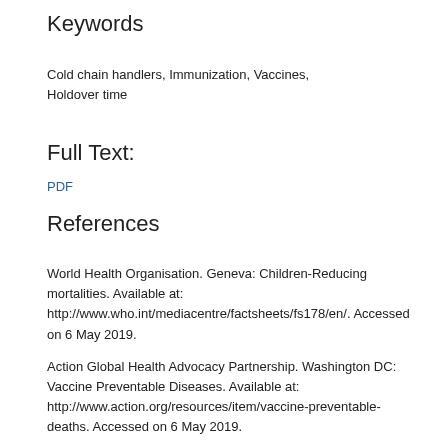Keywords
Cold chain handlers, Immunization, Vaccines, Holdover time
Full Text:
PDF
References
World Health Organisation. Geneva: Children-Reducing mortalities. Available at: http://www.who.int/mediacentre/factsheets/fs178/en/. Accessed on 6 May 2019.
Action Global Health Advocacy Partnership. Washington DC: Vaccine Preventable Diseases. Available at: http://www.action.org/resources/item/vaccine-preventable-deaths. Accessed on 6 May 2019.